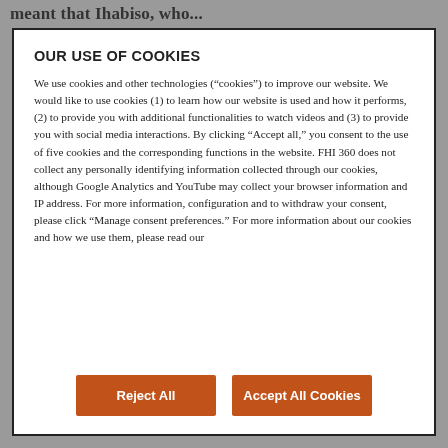meant that Ihabiso, who...
OUR USE OF COOKIES
We use cookies and other technologies (“cookies”) to improve our website. We would like to use cookies (1) to learn how our website is used and how it performs, (2) to provide you with additional functionalities to watch videos and (3) to provide you with social media interactions. By clicking “Accept all,” you consent to the use of five cookies and the corresponding functions in the website. FHI 360 does not collect any personally identifying information collected through our cookies, although Google Analytics and YouTube may collect your browser information and IP address. For more information, configuration and to withdraw your consent, please click “Manage consent preferences.” For more information about our cookies and how we use them, please read our
Reject All
Accept All Cookies